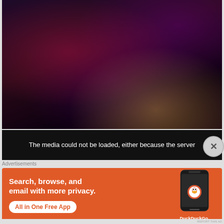[Figure (screenshot): Dark video game screenshot with purple, red and orange atmospheric lighting, showing sci-fi or fantasy game scene.]
The media could not be loaded, either because the server
Advertisements
[Figure (illustration): DuckDuckGo advertisement banner on orange background. Text: 'Search, browse, and email with more privacy. All in One Free App' with DuckDuckGo logo and smartphone graphic.]